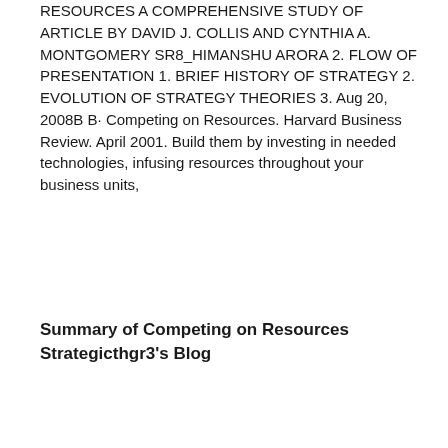RESOURCES A COMPREHENSIVE STUDY OF ARTICLE BY DAVID J. COLLIS AND CYNTHIA A. MONTGOMERY SR8_HIMANSHU ARORA 2. FLOW OF PRESENTATION 1. BRIEF HISTORY OF STRATEGY 2. EVOLUTION OF STRATEGY THEORIES 3. Aug 20, 2008B B· Competing on Resources. Harvard Business Review. April 2001. Build them by investing in needed technologies, infusing resources throughout your business units,
Summary of Competing on Resources Strategicthgr3's Blog